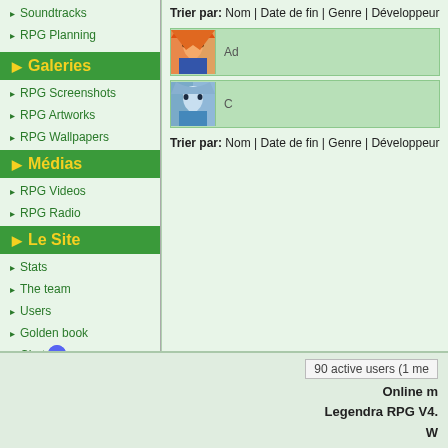Soundtracks
RPG Planning
Galeries
RPG Screenshots
RPG Artworks
RPG Wallpapers
Médias
RPG Videos
RPG Radio
Le Site
Stats
The team
Users
Golden book
Chat
Recrutement
Trier par: Nom | Date de fin | Genre | Développeur
[Figure (screenshot): Game thumbnail 1 - orange haired character]
Ad
[Figure (screenshot): Game thumbnail 2 - blue haired character]
Trier par: Nom | Date de fin | Genre | Développeur
90 active users (1 me   Online m...   Legendra RPG V4...   W...